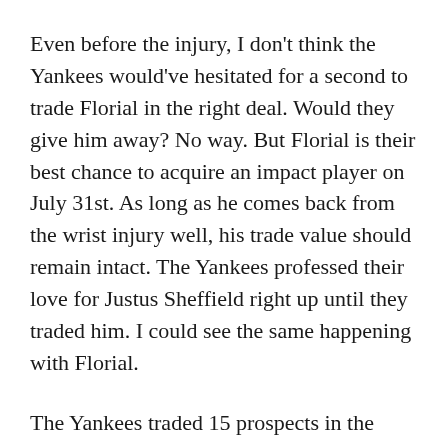Even before the injury, I don't think the Yankees would've hesitated for a second to trade Florial in the right deal. Would they give him away? No way. But Florial is their best chance to acquire an impact player on July 31st. As long as he comes back from the wrist injury well, his trade value should remain intact. The Yankees professed their love for Justus Sheffield right up until they traded him. I could see the same happening with Florial.
The Yankees traded 15 prospects in the days leading up to the last two trade deadlines. Some were big names (Blake Rutherford, James Kaprielian, Jorge Mateo, etc.) and many were second and third tier guys (Josh Rogers, Billy McKinney, Luis Rijo, Zach Littell). I think the